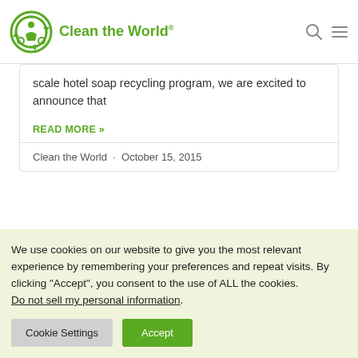Clean the World
scale hotel soap recycling program, we are excited to announce that
READ MORE »
Clean the World · October 15, 2015
We use cookies on our website to give you the most relevant experience by remembering your preferences and repeat visits. By clicking "Accept", you consent to the use of ALL the cookies. Do not sell my personal information.
Cookie Settings
Accept